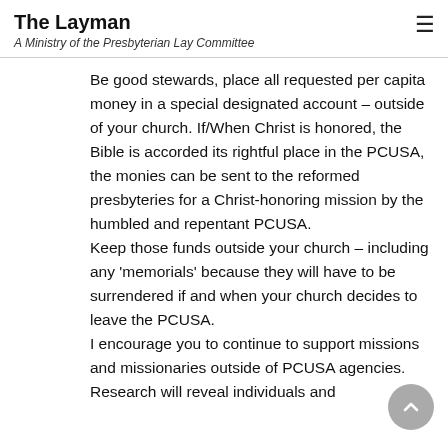The Layman
A Ministry of the Presbyterian Lay Committee
Be good stewards, place all requested per capita money in a special designated account – outside of your church. If/When Christ is honored, the Bible is accorded its rightful place in the PCUSA, the monies can be sent to the reformed presbyteries for a Christ-honoring mission by the humbled and repentant PCUSA.
Keep those funds outside your church – including any 'memorials' because they will have to be surrendered if and when your church decides to leave the PCUSA.
I encourage you to continue to support missions and missionaries outside of PCUSA agencies. Research will reveal individuals and